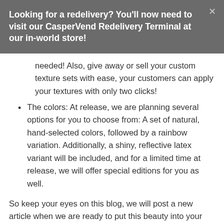Looking for a redelivery? You'll now need to visit our CasperVend Redelivery Terminal at our in-world store!
needed! Also, give away or sell your custom texture sets with ease, your customers can apply your textures with only two clicks!
The colors: At release, we are planning several options for you to choose from: A set of natural, hand-selected colors, followed by a rainbow variation. Additionally, a shiny, reflective latex variant will be included, and for a limited time at release, we will offer special editions for you as well.
So keep your eyes on this blog, we will post a new article when we are ready to put this beauty into your hands!